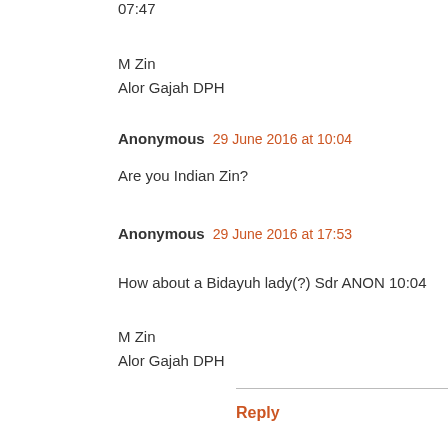07:47
M Zin
Alor Gajah DPH
Anonymous 29 June 2016 at 10:04
Are you Indian Zin?
Anonymous 29 June 2016 at 17:53
How about a Bidayuh lady(?) Sdr ANON 10:04
M Zin
Alor Gajah DPH
Reply